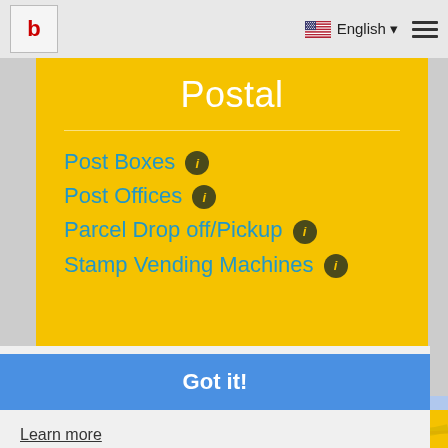b | English ▾ ≡
Postal
Post Boxes ℹ
Post Offices ℹ
Parcel Drop off/Pickup ℹ
Stamp Vending Machines ℹ
This website uses cookies to ensure you get the best experience on our website.
Learn more
Got it!
[Figure (map): Partial map showing street with SOUAX label]